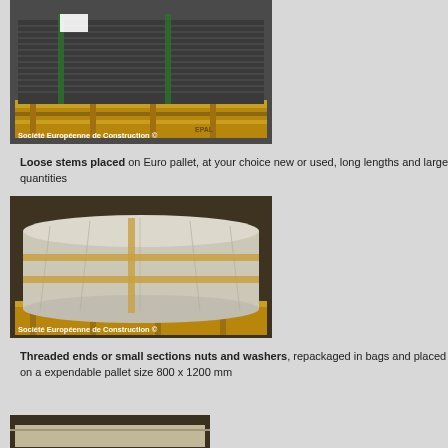[Figure (photo): Dark metal sheets/panels stacked horizontally on a wooden Euro pallet, secured with green straps. Watermark: Société Européenne de Construction ©]
Loose stems placed on Euro pallet, at your choice new or used, long lengths and large quantities
[Figure (photo): A large bundle wrapped in white plastic sheeting tied with tan/gold straps, sitting on a wooden pallet in a warehouse. Watermark: Société Européenne de Construction ©]
Threaded ends or small sections nuts and washers, repackaged in bags and placed on a expendable pallet size 800 x 1200 mm